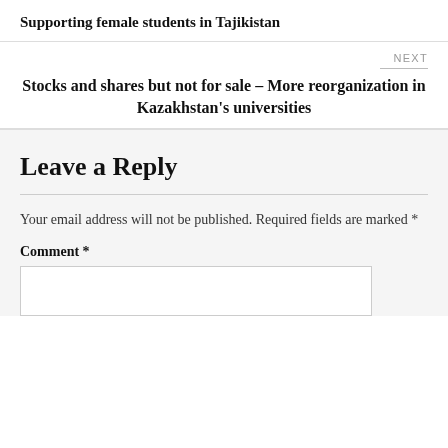Supporting female students in Tajikistan
NEXT
Stocks and shares but not for sale – More reorganization in Kazakhstan's universities
Leave a Reply
Your email address will not be published. Required fields are marked *
Comment *